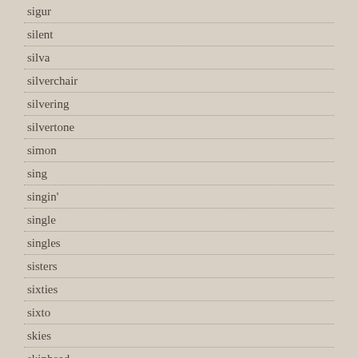sigur
silent
silva
silverchair
silvering
silvertone
simon
sing
singin'
single
singles
sisters
sixties
sixto
skies
skinhead